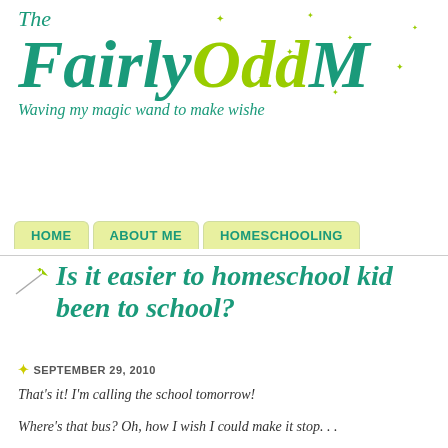The Fairly Odd M — Waving my magic wand to make wishe
HOME | ABOUT ME | HOMESCHOOLING
Is it easier to homeschool kids been to school?
SEPTEMBER 29, 2010
That's it! I'm calling the school tomorrow!
Where's that bus? Oh, how I wish I could make it stop. . .